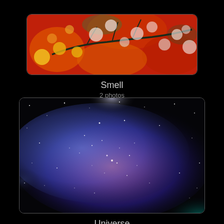[Figure (photo): Abstract painting with red/orange background, bokeh lights (yellow, white, pink circles), and a dark branch/leaf silhouette in the center]
Smell
2 photos
[Figure (photo): Spiral galaxy image with purple, blue, and pink nebula colors and scattered white stars against a dark background]
Universe
4 photos